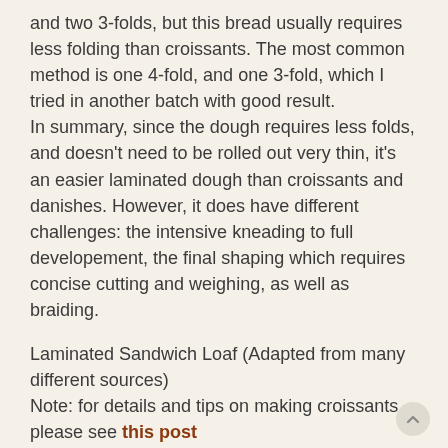and two 3-folds, but this bread usually requires less folding than croissants. The most common method is one 4-fold, and one 3-fold, which I tried in another batch with good result.
In summary, since the dough requires less folds, and doesn't need to be rolled out very thin, it's an easier laminated dough than croissants and danishes. However, it does have different challenges: the intensive kneading to full developement, the final shaping which requires concise cutting and weighing, as well as braiding.
Laminated Sandwich Loaf (Adapted from many different sources)
Note: for details and tips on making croissants, please see this post
Note: for tips on kneading soft sandich loaves see this post
Note: this recipe makes about 930g of dough, less or more depending on how much you trim off the edges etc.
-levain
starter (100%), 44g
water, 75g
bread flour, 134g
1. mix and leave at room temp for 12 hours